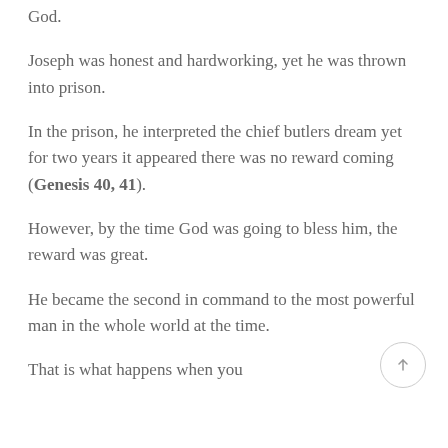God.
Joseph was honest and hardworking, yet he was thrown into prison.
In the prison, he interpreted the chief butlers dream yet for two years it appeared there was no reward coming (Genesis 40, 41).
However, by the time God was going to bless him, the reward was great.
He became the second in command to the most powerful man in the whole world at the time.
That is what happens when you